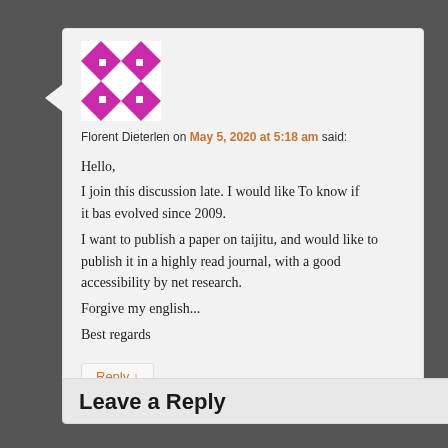Florent Dieterlen on May 5, 2020 at 5:18 am said:
Hello,
I join this discussion late. I would like To know if it bas evolved since 2009.
I want to publish a paper on taijitu, and would like to publish it in a highly read journal, with a good accessibility by net research.
Forgive my english...
Best regards
Reply ↓
Leave a Reply